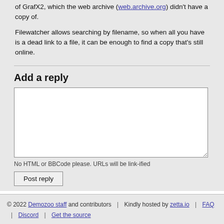of GrafX2, which the web archive (web.archive.org) didn't have a copy of.
Filewatcher allows searching by filename, so when all you have is a dead link to a file, it can be enough to find a copy that's still online.
Add a reply
No HTML or BBCode please. URLs will be link-ified
© 2022 Demozoo staff and contributors | Kindly hosted by zetta.io | FAQ | Discord | Get the source